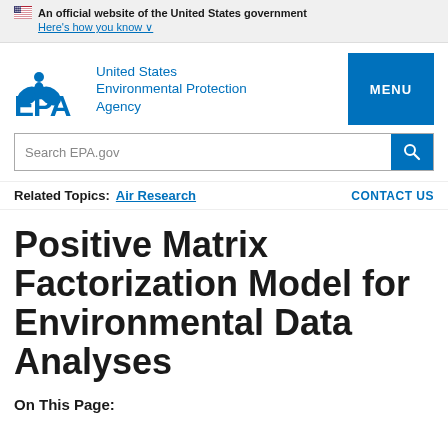An official website of the United States government
Here's how you know ∨
[Figure (logo): EPA logo with leaf/person symbol and EPA text in blue, United States Environmental Protection Agency text, and blue MENU button]
Search EPA.gov
Related Topics:  Air Research    CONTACT US
Positive Matrix Factorization Model for Environmental Data Analyses
On This Page: